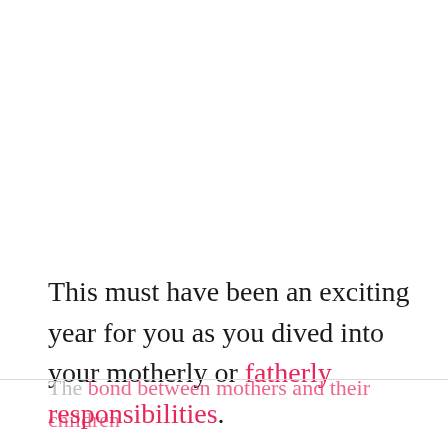This must have been an exciting year for you as you dived into your motherly or fatherly responsibilities.
The bond between mothers and their children